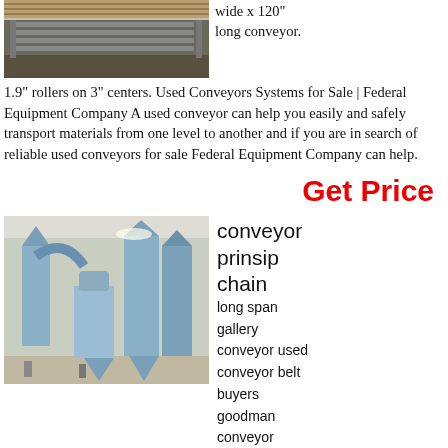[Figure (photo): Photo of a roller conveyor system viewed from above, showing metal rollers on wooden frame]
wide x 120" long conveyor.
1.9" rollers on 3" centers. Used Conveyors Systems for Sale | Federal Equipment Company A used conveyor can help you easily and safely transport materials from one level to another and if you are in search of reliable used conveyors for sale Federal Equipment Company can help.
Get Price
[Figure (photo): Photo of industrial milling/grinding equipment in a large factory hall, showing blue-painted machines with cyclone dust collectors and conveying systems]
conveyor prinsip chain long span gallery conveyor used conveyor belt buyers goodman conveyor impact beds